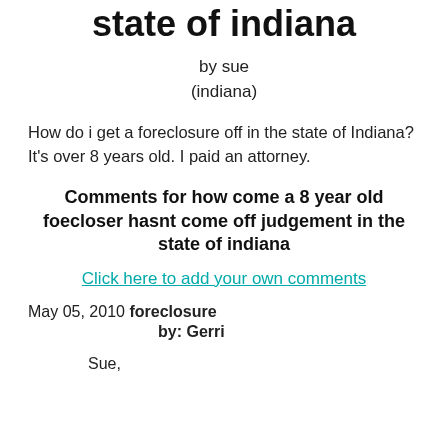state of indiana
by sue
(indiana)
How do i get a foreclosure off in the state of Indiana? It's over 8 years old. I paid an attorney.
Comments for how come a 8 year old foecloser hasnt come off judgement in the state of indiana
Click here to add your own comments
May 05, 2010 foreclosure
by: Gerri
Sue,